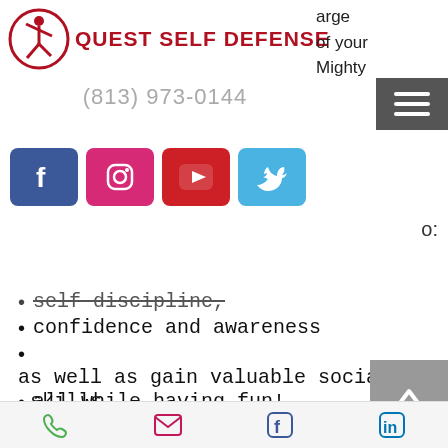[Figure (logo): Quest Self Defense logo with circular figure icon and red bold text 'QUEST SELF DEFENSE']
arge of your Mighty
[Figure (other): Hamburger menu button (three white lines on dark grey background)]
(813) 973-0144
[Figure (other): Social media icons row: Facebook (blue), Instagram (pink), YouTube (red), Twitter (light blue)]
o:
self-discipline,
confidence and awareness
as well as gain valuable social skills,
all while having fun!
Through positive reinforcement we can bring out the best in your children to help them succeed in life.
[Figure (other): Back to top arrow button (grey square with upward chevron)]
Phone | Email | Facebook | LinkedIn icons